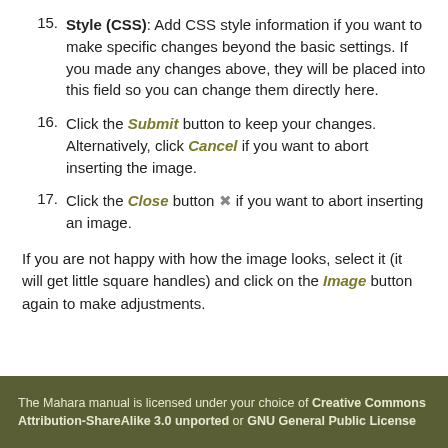15. Style (CSS): Add CSS style information if you want to make specific changes beyond the basic settings. If you made any changes above, they will be placed into this field so you can change them directly here.
16. Click the Submit button to keep your changes. Alternatively, click Cancel if you want to abort inserting the image.
17. Click the Close button ✕ if you want to abort inserting an image.
If you are not happy with how the image looks, select it (it will get little square handles) and click on the Image button again to make adjustments.
The Mahara manual is licensed under your choice of Creative Commons Attribution-ShareAlike 3.0 unported or GNU General Public License